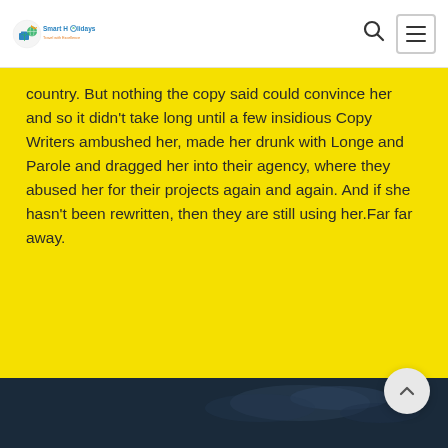[Figure (logo): Smart Holidays logo with colorful travel icons and text 'Smart Holidays Travel with Excellence']
country. But nothing the copy said could convince her and so it didn't take long until a few insidious Copy Writers ambushed her, made her drunk with Longe and Parole and dragged her into their agency, where they abused her for their projects again and again. And if she hasn't been rewritten, then they are still using her.Far far away.
[Figure (photo): Dark navy background with subtle cloud or sky imagery in the footer area]